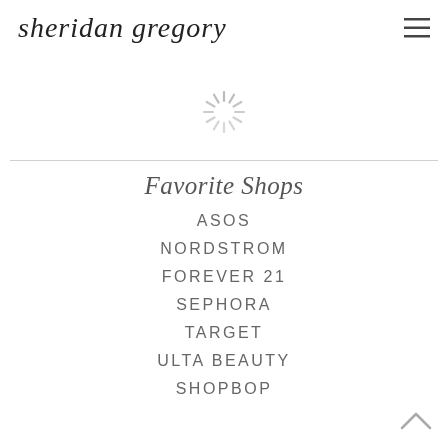sheridan gregory
[Figure (other): Loading spinner icon — a sunburst/asterisk of short radiating lines in light gray]
Favorite Shops
ASOS
NORDSTROM
FOREVER 21
SEPHORA
TARGET
ULTA BEAUTY
SHOPBOP